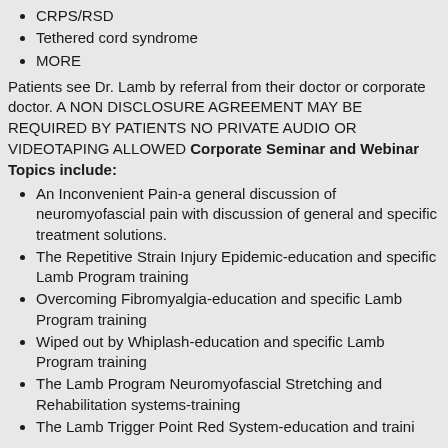CRPS/RSD
Tethered cord syndrome
MORE
Patients see Dr. Lamb by referral from their doctor or corporate doctor. A NON DISCLOSURE AGREEMENT MAY BE REQUIRED BY PATIENTS NO PRIVATE AUDIO OR VIDEOTAPING ALLOWED Corporate Seminar and Webinar Topics include:
An Inconvenient Pain-a general discussion of neuromyofascial pain with discussion of general and specific treatment solutions.
The Repetitive Strain Injury Epidemic-education and specific Lamb Program training
Overcoming Fibromyalgia-education and specific Lamb Program training
Wiped out by Whiplash-education and specific Lamb Program training
The Lamb Program Neuromyofascial Stretching and Rehabilitation systems-training
The Lamb Trigger Point Red System-education and training